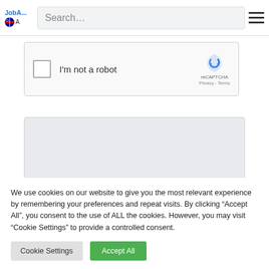JobA... A (Australian flag) Search... (hamburger menu)
[Figure (screenshot): reCAPTCHA widget with checkbox labeled 'I'm not a robot' and reCAPTCHA logo with Privacy - Terms links]
[Figure (other): Gray empty content box]
We use cookies on our website to give you the most relevant experience by remembering your preferences and repeat visits. By clicking “Accept All”, you consent to the use of ALL the cookies. However, you may visit "Cookie Settings" to provide a controlled consent.
Cookie Settings   Accept All